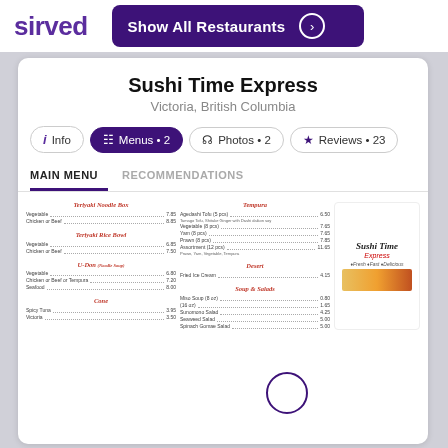sirved | Show All Restaurants
Sushi Time Express
Victoria, British Columbia
Info | Menus • 2 | Photos • 2 | Reviews • 23
MAIN MENU | RECOMMENDATIONS
[Figure (screenshot): Screenshot of Sirved restaurant menu listing for Sushi Time Express, showing Teriyaki Noodle Box, Teriyaki Rice Bowl, U-Don (Noodle Soup), Cone sections on left; Tempura, Desert, Soup & Salads on right; Sushi Time Express logo bottom right. A purple circle overlay appears on the menu image.]